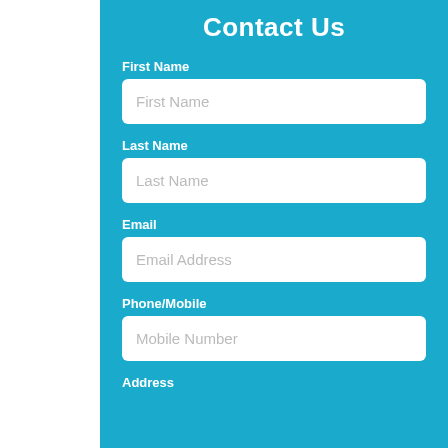Contact Us
First Name
First Name (placeholder)
Last Name
Last Name (placeholder)
Email
Email Address (placeholder)
Phone/Mobile
Mobile Number (placeholder)
Address